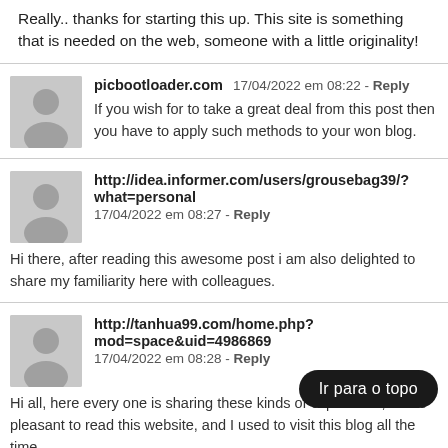Really.. thanks for starting this up. This site is something that is needed on the web, someone with a little originality!
picbootloader.com  17/04/2022 em 08:22 - Reply
If you wish for to take a great deal from this post then you have to apply such methods to your won blog.
http://idea.informer.com/users/grousebag39/?what=personal  17/04/2022 em 08:27 - Reply
Hi there, after reading this awesome post i am also delighted to share my familiarity here with colleagues.
http://tanhua99.com/home.php?mod=space&uid=4986869  17/04/2022 em 08:28 - Reply
Hi all, here every one is sharing these kinds of experience, so it's pleasant to read this website, and I used to visit this blog all the time.
Ir para o topo